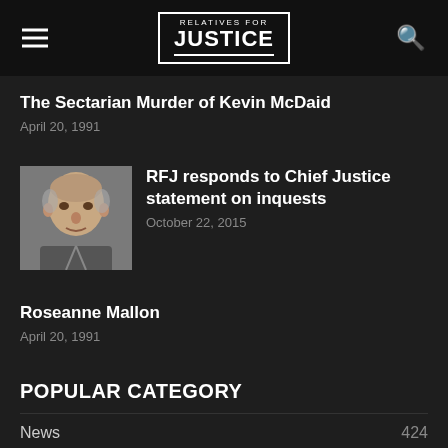RELATIVES FOR JUSTICE
The Sectarian Murder of Kevin McDaid
April 20, 1991
[Figure (photo): Headshot photo of a middle-aged man with grey hair against a grey background]
RFJ responds to Chief Justice statement on inquests
October 22, 2015
Roseanne Mallon
April 20, 1991
POPULAR CATEGORY
News  424
Latest News  211